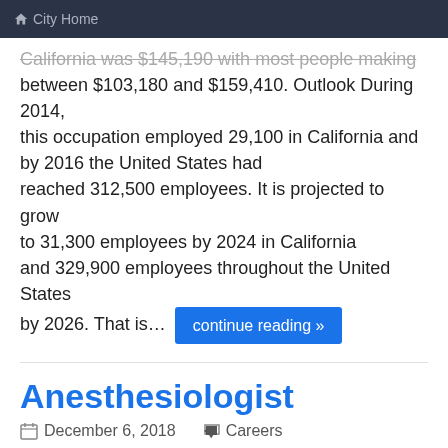City Home
California was $145,190 with most people making between $103,180 and $159,410. Outlook During 2014, this occupation employed 29,100 in California and by 2016 the United States had reached 312,500 employees. It is projected to grow to 31,300 employees by 2024 in California and 329,900 employees throughout the United States by 2026. That is... continue reading »
Anesthesiologist
December 6, 2018   Careers
About the Job Physicians who administer anesthetics prior to, during, or after surgery or other medical procedures. it is Also Called Anesthesia Associate Anesthesia Director Anesthesia Resident Anesthesiologist Attending Anesthesiologist Medical